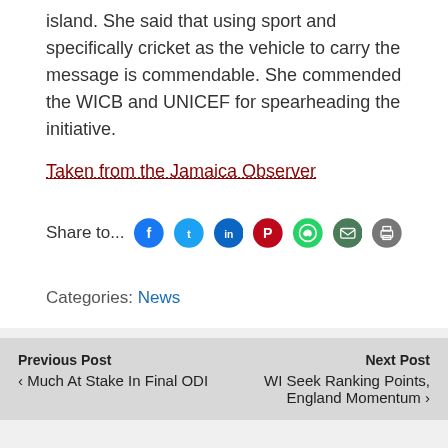island. She said that using sport and specifically cricket as the vehicle to carry the message is commendable. She commended the WICB and UNICEF for spearheading the initiative.
Taken from the Jamaica Observer
Share to...
Categories: News
Previous Post Much At Stake In Final ODI
Next Post WI Seek Ranking Points, England Momentum